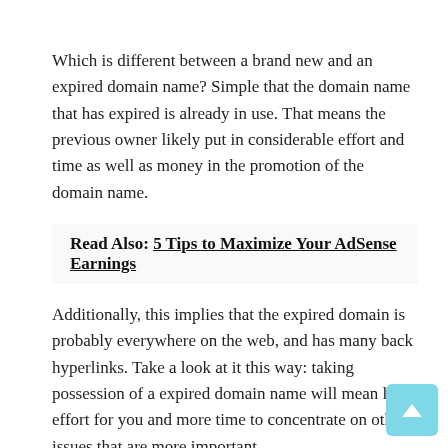Which is different between a brand new and an expired domain name? Simple that the domain name that has expired is already in use. That means the previous owner likely put in considerable effort and time as well as money in the promotion of the domain name.
Read Also: 5 Tips to Maximize Your AdSense Earnings
Additionally, this implies that the expired domain is probably everywhere on the web, and has many back hyperlinks. Take a look at it this way: taking possession of a expired domain name will mean less effort for you and more time to concentrate on other issues that are more important.